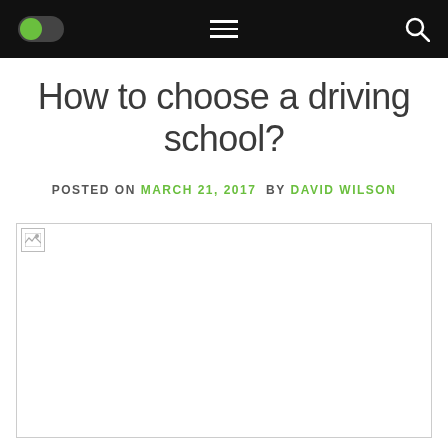Navigation bar with toggle switch, hamburger menu, and search icon
How to choose a driving school?
POSTED ON MARCH 21, 2017  BY DAVID WILSON
[Figure (photo): Broken image placeholder for an article image]